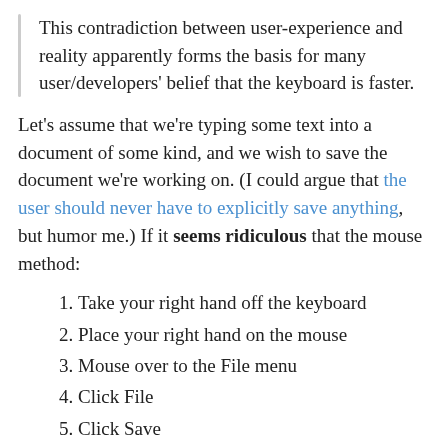This contradiction between user-experience and reality apparently forms the basis for many user/developers' belief that the keyboard is faster.
Let's assume that we're typing some text into a document of some kind, and we wish to save the document we're working on. (I could argue that the user should never have to explicitly save anything, but humor me.) If it seems ridiculous that the mouse method:
Take your right hand off the keyboard
Place your right hand on the mouse
Mouse over to the File menu
Click File
Click Save
Place your right hand back on the keyboard